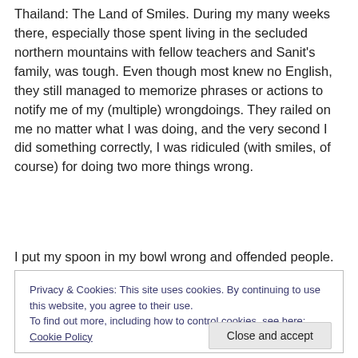Thailand: The Land of Smiles. During my many weeks there, especially those spent living in the secluded northern mountains with fellow teachers and Sanit's family, was tough. Even though most knew no English, they still managed to memorize phrases or actions to notify me of my (multiple) wrongdoings. They railed on me no matter what I was doing, and the very second I did something correctly, I was ridiculed (with smiles, of course) for doing two more things wrong.
I put my spoon in my bowl wrong and offended people.
Privacy & Cookies: This site uses cookies. By continuing to use this website, you agree to their use.
To find out more, including how to control cookies, see here: Cookie Policy